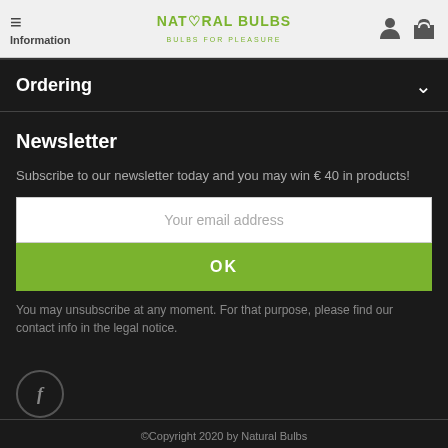Natural Bulbs — Information
Ordering
Newsletter
Subscribe to our newsletter today and you may win € 40 in products!
Your email address
OK
You may unsubscribe at any moment. For that purpose, please find our contact info in the legal notice.
[Figure (logo): Facebook circle icon]
©Copyright 2020 by Natural Bulbs